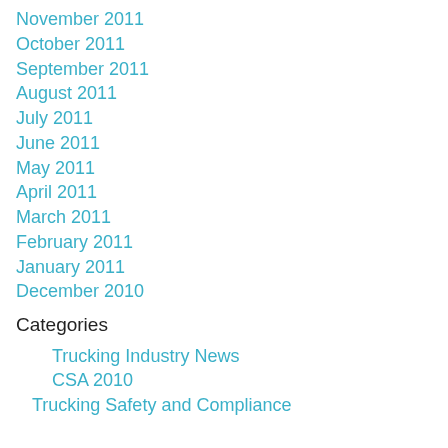November 2011
October 2011
September 2011
August 2011
July 2011
June 2011
May 2011
April 2011
March 2011
February 2011
January 2011
December 2010
Categories
Trucking Industry News
CSA 2010
Trucking Safety and Compliance